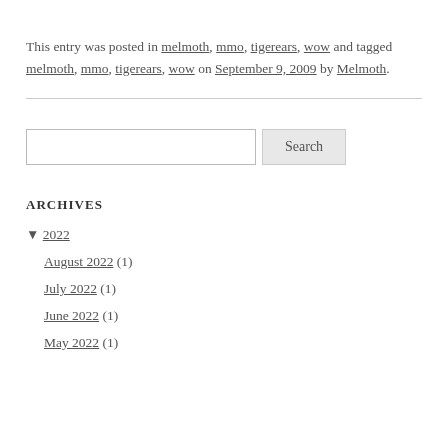This entry was posted in melmoth, mmo, tigerears, wow and tagged melmoth, mmo, tigerears, wow on September 9, 2009 by Melmoth.
[Search box with Search button]
ARCHIVES
▼ 2022
August 2022 (1)
July 2022 (1)
June 2022 (1)
May 2022 (1)